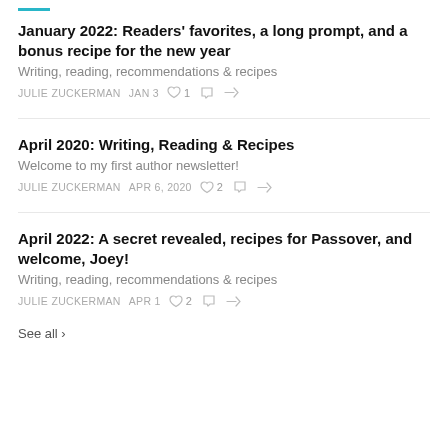January 2022: Readers' favorites, a long prompt, and a bonus recipe for the new year
Writing, reading, recommendations & recipes
JULIE ZUCKERMAN   JAN 3   1   (comment)   (share)
April 2020: Writing, Reading & Recipes
Welcome to my first author newsletter!
JULIE ZUCKERMAN   APR 6, 2020   2   (comment)   (share)
April 2022: A secret revealed, recipes for Passover, and welcome, Joey!
Writing, reading, recommendations & recipes
JULIE ZUCKERMAN   APR 1   2   (comment)   (share)
See all ›